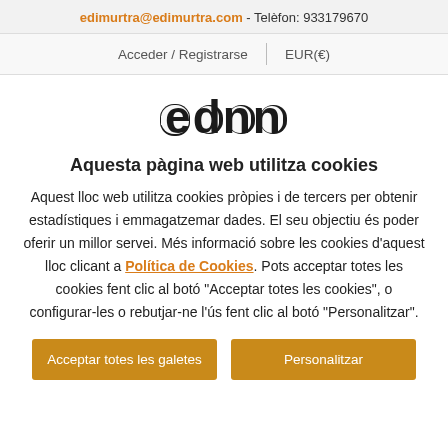edimurtra@edimurtra.com - Telèfon: 933179670
Acceder / Registrarse | EUR(€)
[Figure (logo): ednn brand logo in black stylized text]
Aquesta pàgina web utilitza cookies
Aquest lloc web utilitza cookies pròpies i de tercers per obtenir estadístiques i emmagatzemar dades. El seu objectiu és poder oferir un millor servei. Més informació sobre les cookies d'aquest lloc clicant a Política de Cookies. Pots acceptar totes les cookies fent clic al botó "Acceptar totes les cookies", o configurar-les o rebutjar-ne l'ús fent clic al botó "Personalitzar".
Acceptar totes les galetes
Personalitzar